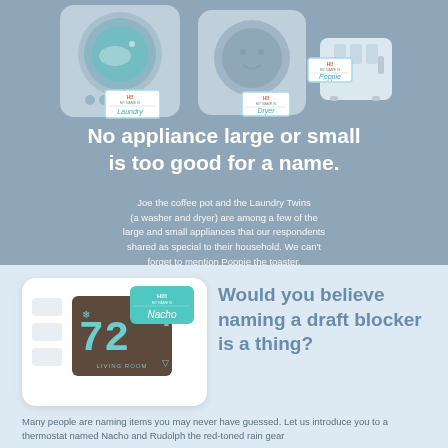[Figure (illustration): Illustration of home appliances (washer, dryer, toaster) with 'Hi! My name is...' name tags. Washer labeled 'Laundry', dryer labeled 'Dryer', toaster labeled 'Poppie'.]
No appliance large or small is too good for a name.
Joe the coffee pot and the Laundry Twins (a washer and dryer) are among a few of the large and small appliances that our respondents shared as special to their household. We can't forget to mention Poppie the toaster.
[Figure (illustration): Illustration of a smart thermostat showing '72' and 'LIVING ROOM' with a teal 'Hi! My name is Nacho' name tag.]
Would you believe naming a draft blocker is a thing?
Many people are naming items you may never have guessed. Let us introduce you to a thermostat named Nacho and Rudolph the red-toned rain gear